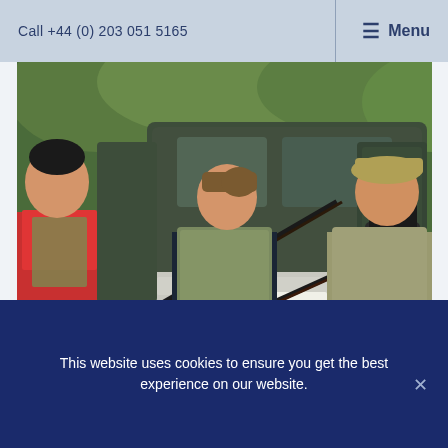Call +44 (0) 203 051 5165  ☰ Menu
[Figure (photo): Three people handling shotguns next to a green Land Rover Defender. A man in a red top and tweed vest on the left holds a shotgun. A woman in a khaki quilted jacket in the center is passing a shotgun. A man in a tweed jacket and flat cap on the right is receiving/holding a shotgun. The background shows green trees and foliage.]
This website uses cookies to ensure you get the best experience on our website.